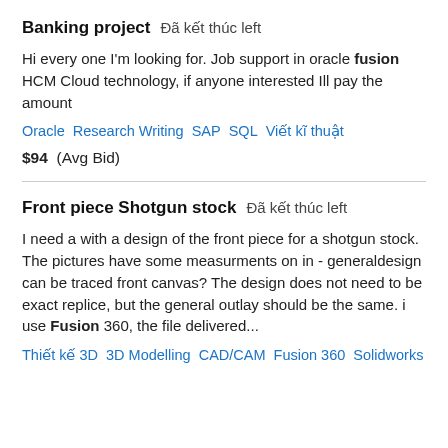Banking project  Đã kết thúc left
Hi every one I'm looking for. Job support in oracle fusion HCM Cloud technology, if anyone interested Ill pay the amount
Oracle   Research Writing   SAP   SQL   Viết kĩ thuật
$94  (Avg Bid)
Front piece Shotgun stock  Đã kết thúc left
I need a with a design of the front piece for a shotgun stock. The pictures have some measurments on in - generaldesign can be traced front canvas? The design does not need to be exact replice, but the general outlay should be the same. i use Fusion 360, the file delivered...
Thiết kế 3D   3D Modelling   CAD/CAM   Fusion 360   Solidworks